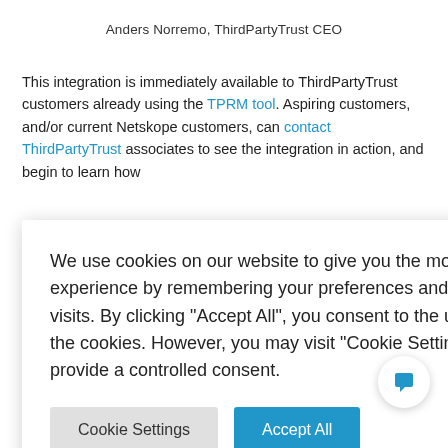Anders Norremo, ThirdPartyTrust CEO
This integration is immediately available to ThirdPartyTrust customers already using the TPRM tool. Aspiring customers, and/or current Netskope customers, can contact ThirdPartyTrust associates to see the integration in action, and begin to learn how
[Figure (screenshot): Cookie consent popup overlay with text: 'We use cookies on our website to give you the most relevant experience by remembering your preferences and repeat visits. By clicking "Accept All", you consent to the use of ALL the cookies. However, you may visit "Cookie Settings" to provide a controlled consent.' with two buttons: 'Cookie Settings' (gray) and 'Accept All' (blue)]
latform for automate risk cuments. breadsheet n and holistic v
their vendors  security, quantify their impact, and gain insight into